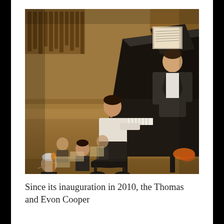[Figure (photo): A young pianist performing at a grand piano on a concert stage with an orchestra in the background. An older conductor or musician in a dark suit stands at the piano looking at sheet music. Orchestra musicians including a violinist are visible seated behind the soloist. The concert hall has warm wood tones and organ pipes visible in the background.]
Since its inauguration in 2010, the Thomas and Evon Cooper